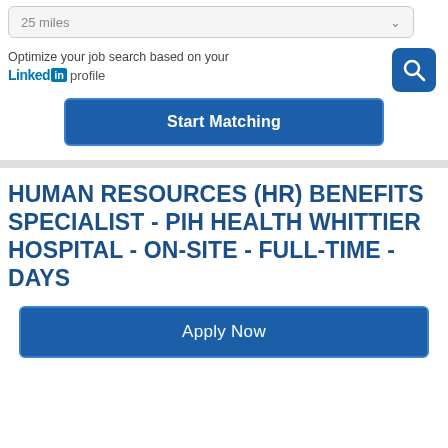25 miles
Optimize your job search based on your
Linked in profile
Start Matching
HUMAN RESOURCES (HR) BENEFITS SPECIALIST - PIH HEALTH WHITTIER HOSPITAL - ON-SITE - FULL-TIME - DAYS
Apply Now